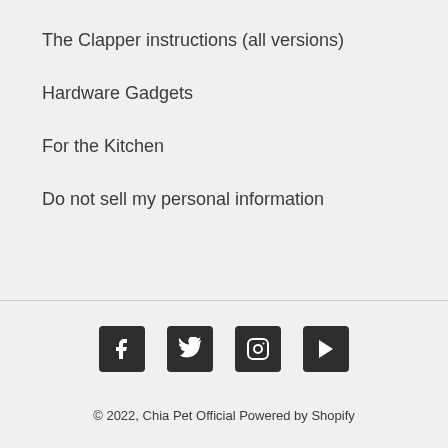The Clapper instructions (all versions)
Hardware Gadgets
For the Kitchen
Do not sell my personal information
[Figure (other): Social media icons: Facebook, Twitter, Instagram, YouTube]
© 2022, Chia Pet Official Powered by Shopify